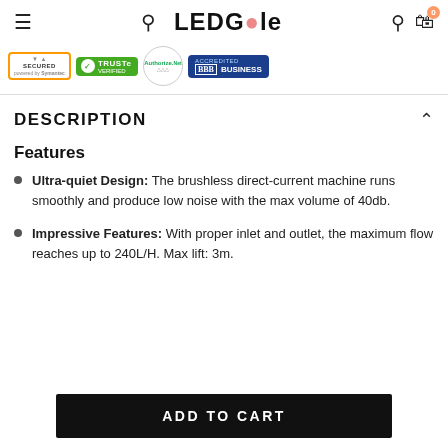LEDGle
[Figure (logo): Trust badges: Norton Secured, TRUSTe Verified, Authorize.Net, BBB Accredited Business]
DESCRIPTION
Features🔒
Ultra-quiet Design: The brushless direct-current machine runs smoothly and produce low noise with the max volume of 40db.
Impressive Features: With proper inlet and outlet, the maximum flow reaches up to 240L/H. Max lift: 3m.
ADD TO CART